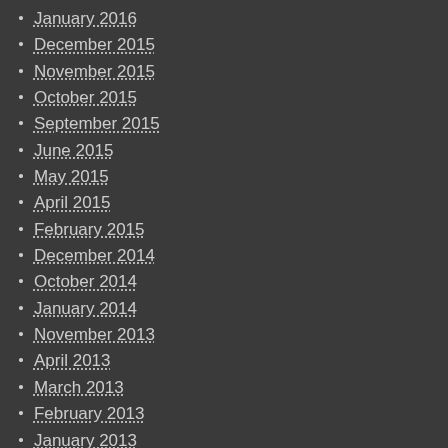January 2016
December 2015
November 2015
October 2015
September 2015
June 2015
May 2015
April 2015
February 2015
December 2014
October 2014
January 2014
November 2013
April 2013
March 2013
February 2013
January 2013
December 2012
November 2012
September 2012
May 2012
April 2012
March 2012